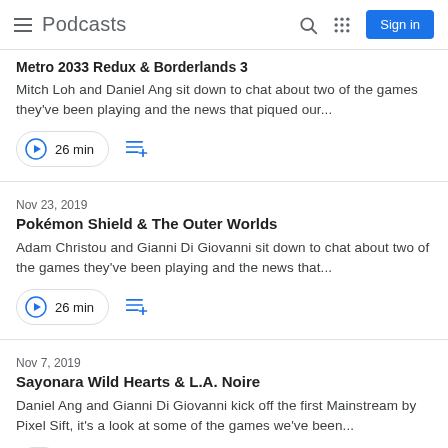Podcasts
Metro 2033 Redux & Borderlands 3
Mitch Loh and Daniel Ang sit down to chat about two of the games they've been playing and the news that piqued our...
26 min
Nov 23, 2019
Pokémon Shield & The Outer Worlds
Adam Christou and Gianni Di Giovanni sit down to chat about two of the games they've been playing and the news that...
26 min
Nov 7, 2019
Sayonara Wild Hearts & L.A. Noire
Daniel Ang and Gianni Di Giovanni kick off the first Mainstream by Pixel Sift, it's a look at some of the games we've been...